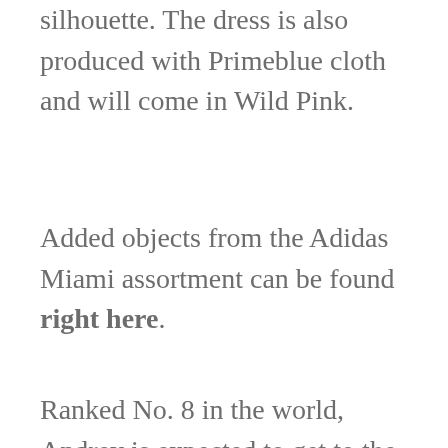silhouette. The dress is also produced with Primeblue cloth and will come in Wild Pink.
Added objects from the Adidas Miami assortment can be found right here.
Ranked No. 8 in the world, Andrey is expected to get to the courts sporting Nike's most up-to-date development. The Nike Men's Court Dri-Healthy Edge Tennis Polo. This Polo is excellent for gamers who want to keep dry and comfortable